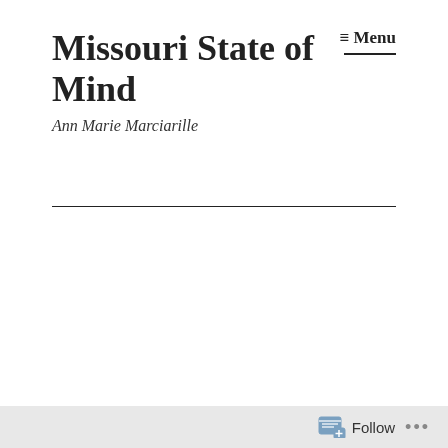Missouri State of Mind
Ann Marie Marciarille
Teaching the Affordable Care Act to Business School Students
Posted on December 9, 2013